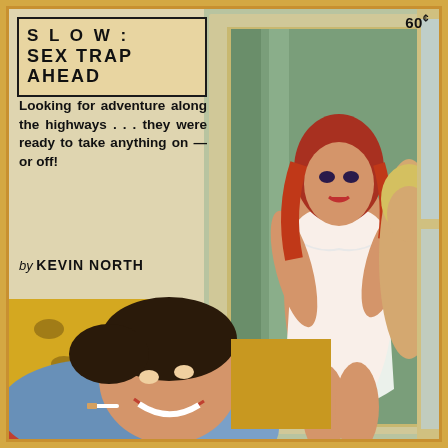SLOW: SEX TRAP AHEAD
Looking for adventure along the highways . . . they were ready to take anything on — or off!
by KEVIN NORTH
[Figure (illustration): Vintage pulp fiction book cover illustration showing a smiling man lying on a bed, a red-haired woman in lingerie standing in a doorway, and a blonde woman visible behind her.]
60¢